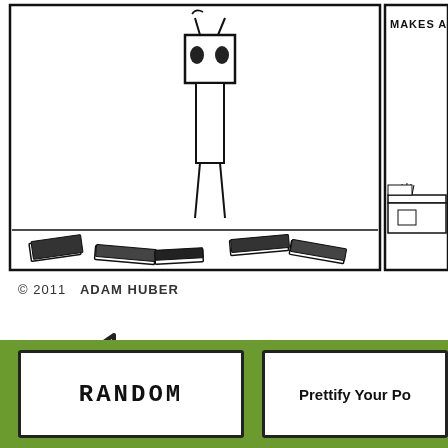[Figure (illustration): Partial comic strip panel showing a stick figure character with a square/TV head standing in a room with scattered books/papers on the floor. To the right is a partial second panel showing 'MAKES A' text and what appears to be a desk with items. Copyright notice below reads '© 2011 ADAM HUBER'.]
© 2011  ADAM HUBER
[Figure (illustration): Large yellow left-pointing arrow with thick black outline, pointing left, on white background.]
[Figure (illustration): Green bar at bottom of page containing two white boxes: left box with text 'RANDOM' and right box with text 'Prettify Your Po...']
RANDOM
Prettify Your Po